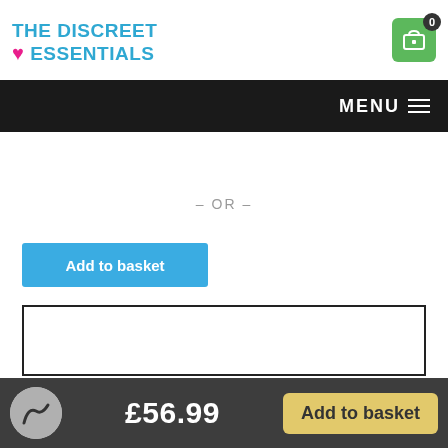THE DISCREET ESSENTIALS
MENU
– OR –
Add to basket
[Figure (other): Content area bordered box]
£56.99  Add to basket